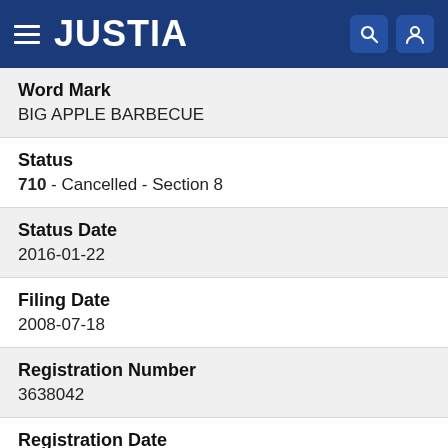JUSTIA
Word Mark
BIG APPLE BARBECUE
Status
710 - Cancelled - Section 8
Status Date
2016-01-22
Filing Date
2008-07-18
Registration Number
3638042
Registration Date
2009-06-16